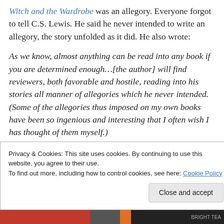Witch and the Wardrobe was an allegory. Everyone forgot to tell C.S. Lewis. He said he never intended to write an allegory, the story unfolded as it did. He also wrote:
As we know, almost anything can be read into any book if you are determined enough…[the author] will find reviewers, both favorable and hostile, reading into his stories all manner of allegories which he never intended. (Some of the allegories thus imposed on my own books have been so ingenious and interesting that I often wish I has thought of them myself.)
Privacy & Cookies: This site uses cookies. By continuing to use this website, you agree to their use. To find out more, including how to control cookies, see here: Cookie Policy
Close and accept